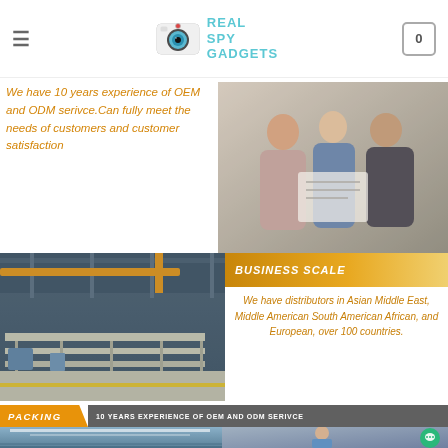Real Spy Gadgets — navigation header with logo and cart
We have 10 years experience of OEM and ODM serivce.Can fully meet the needs of customers and customer satisfaction
[Figure (photo): Business people reviewing documents in an office]
[Figure (photo): Factory/manufacturing floor with assembly lines]
BUSINESS SCALE
We have distributors in Asian Middle East, Middle American South American African, and European, over 100 countries.
PACKING
10 YEARS EXPERIENCE OF OEM AND ODM SERIVCE
[Figure (photo): Large warehouse interior with bright lighting]
[Figure (photo): Worker in blue uniform in factory setting]